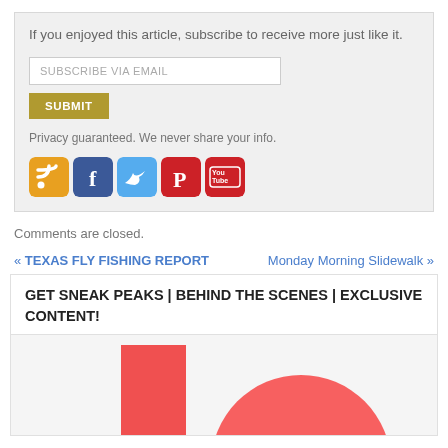If you enjoyed this article, subscribe to receive more just like it.
SUBSCRIBE VIA EMAIL
SUBMIT
Privacy guaranteed. We never share your info.
[Figure (other): Social media icons: RSS feed (orange), Facebook (blue), Twitter (light blue), Pinterest (red), YouTube (red/white)]
Comments are closed.
« TEXAS FLY FISHING REPORT
Monday Morning Slidewalk »
GET SNEAK PEAKS | BEHIND THE SCENES | EXCLUSIVE CONTENT!
[Figure (illustration): Partial illustration showing a red vertical rectangle shape and a large red/salmon circle shape on a light background, cropped at bottom of page.]